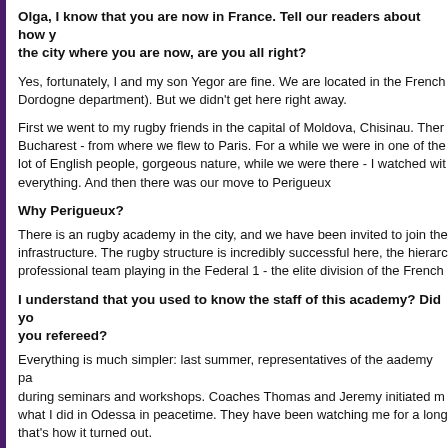Olga, I know that you are now in France. Tell our readers about how you left the city where you are now, are you all right?
Yes, fortunately, I and my son Yegor are fine. We are located in the French Dordogne department). But we didn't get here right away.
First we went to my rugby friends in the capital of Moldova, Chisinau. Then Bucharest - from where we flew to Paris. For a while we were in one of the lot of English people, gorgeous nature, while we were there - I watched with everything. And then there was our move to Perigueux
Why Perigueux?
There is an rugby academy in the city, and we have been invited to join the infrastructure. The rugby structure is incredibly successful here, the hierarchy professional team playing in the Federal 1 - the elite division of the French
I understand that you used to know the staff of this academy? Did you you refereed?
Everything is much simpler: last summer, representatives of the aademy pa during seminars and workshops. Coaches Thomas and Jeremy initiated m what I did in Odessa in peacetime. They have been watching me for a long that's how it turned out.